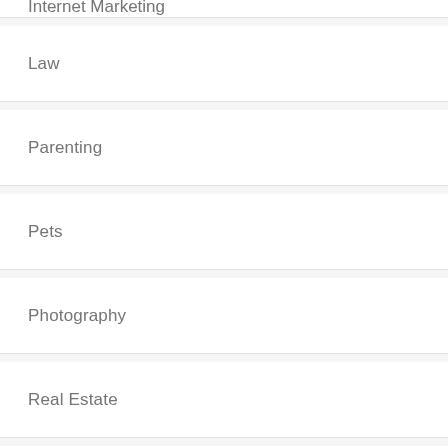Internet Marketing
Law
Parenting
Pets
Photography
Real Estate
Retail
SEO
Shopping
Social media
Software
Sports
Technology